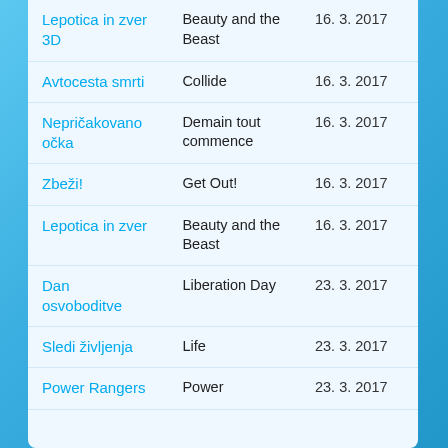| Slovenian title | Original title | Date |
| --- | --- | --- |
| Lepotica in zver 3D | Beauty and the Beast | 16. 3. 2017 |
| Avtocesta smrti | Collide | 16. 3. 2017 |
| Nepričakovano očka | Demain tout commence | 16. 3. 2017 |
| Zbeži! | Get Out! | 16. 3. 2017 |
| Lepotica in zver | Beauty and the Beast | 16. 3. 2017 |
| Dan osvoboditve | Liberation Day | 23. 3. 2017 |
| Sledi življenja | Life | 23. 3. 2017 |
| Power Rangers | Power | 23. 3. 2017 |